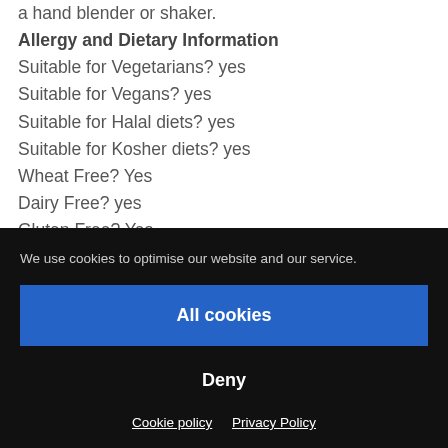a hand blender or shaker.
Allergy and Dietary Information
Suitable for Vegetarians? yes
Suitable for Vegans? yes
Suitable for Halal diets? yes
Suitable for Kosher diets? yes
Wheat Free? Yes
Dairy Free? yes
Gluten Free? Yes
Great deals on our
Facebook https://www.facebook.com/...
We use cookies to optimise our website and our service.
All cookies
Deny
Cookie policy   Privacy Policy